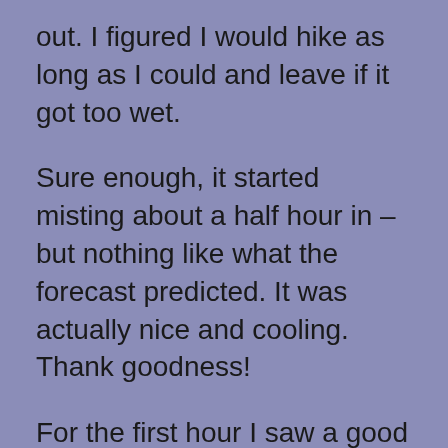out. I figured I would hike as long as I could and leave if it got too wet.
Sure enough, it started misting about a half hour in – but nothing like what the forecast predicted. It was actually nice and cooling. Thank goodness!
For the first hour I saw a good number of people. It's summer, after all 🙂
As I got closer to the top of either the 1st or the 2nd Flatiron (still trying to figure out the difference between the two to be honest), the number of people still hiking grew fewer and